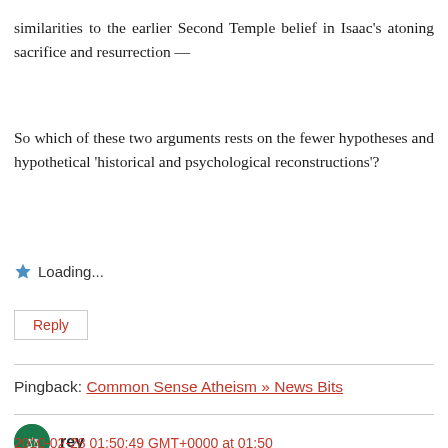similarities to the earlier Second Temple belief in Isaac's atoning sacrifice and resurrection —
So which of these two arguments rests on the fewer hypotheses and hypothetical 'historical and psychological reconstructions'?
Loading...
Reply
Pingback: Common Sense Atheism » News Bits
rey
2010-02-28 01:50:49 GMT+0000 at 01:50